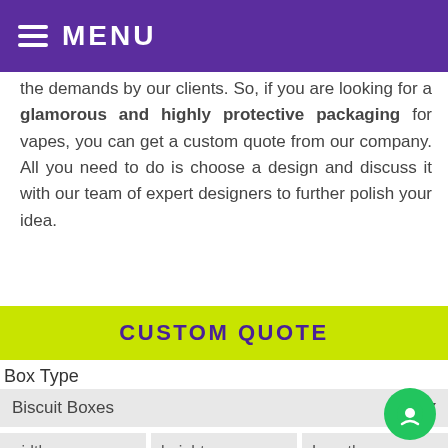MENU
the demands by our clients. So, if you are looking for a glamorous and highly protective packaging for vapes, you can get a custom quote from our company. All you need to do is choose a design and discuss it with our team of expert designers to further polish your idea.
CUSTOM QUOTE
Box Type
Biscuit Boxes
width
height
Length
12pt
Add Ons
Spot UV